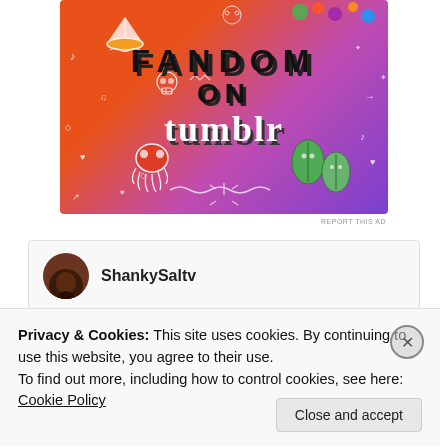[Figure (illustration): Tumblr 'Fandom on Tumblr' promotional banner with colorful gradient background (orange to purple), decorated with white doodle icons (skull, sailboat, octopus, leaf stickers, music notes, hearts, arrows, sparkles) and bold text reading 'FANDOM ON tumblr']
REPORT THIS AD
[Figure (screenshot): Blog post card with avatar for 'ShankySalty' with a partial red image at the bottom]
ShankySalty
Privacy & Cookies: This site uses cookies. By continuing to use this website, you agree to their use.
To find out more, including how to control cookies, see here: Cookie Policy
Close and accept